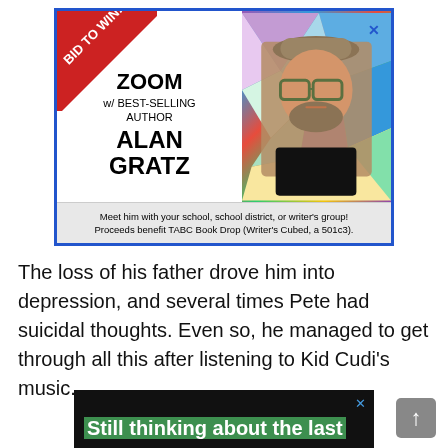[Figure (illustration): Advertisement banner for a Zoom meeting with best-selling author Alan Gratz. Left side has a red diagonal ribbon saying 'BID TO WIN!' in white text. Text reads: ZOOM w/ BEST-SELLING AUTHOR ALAN GRATZ. Right side shows a photo of a bearded man with glasses and a hat in front of a colorful geometric background. Bottom gray bar reads: Meet him with your school, school district, or writer's group! Proceeds benefit TABC Book Drop (Writer's Cubed, a 501c3).]
The loss of his father drove him into depression, and several times Pete had suicidal thoughts. Even so, he managed to get through all this after listening to Kid Cudi's music.
[Figure (illustration): Bottom advertisement banner showing partial text: Still thinking about the last on a dark background.]